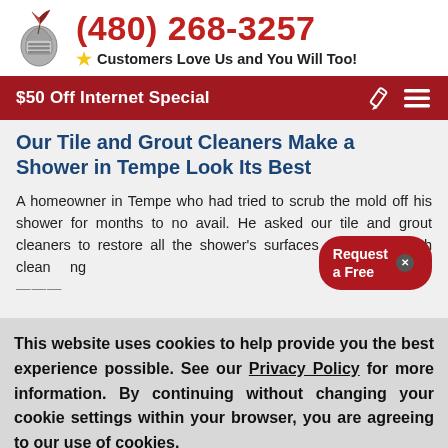(480) 268-3257 — Customers Love Us and You Will Too!
$50 Off Internet Special
Our Tile and Grout Cleaners Make a Shower in Tempe Look Its Best
A homeowner in Tempe who had tried to scrub the mold off his shower for months to no avail. He asked our tile and grout cleaners to restore all the shower's surfaces with a thorough cleaning service.
This website uses cookies to help provide you the best experience possible. See our Privacy Policy for more information. By continuing without changing your cookie settings within your browser, you are agreeing to our use of cookies.